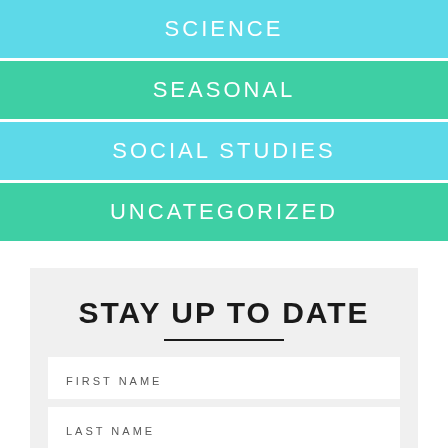SCIENCE
SEASONAL
SOCIAL STUDIES
UNCATEGORIZED
STAY UP TO DATE
FIRST NAME
LAST NAME